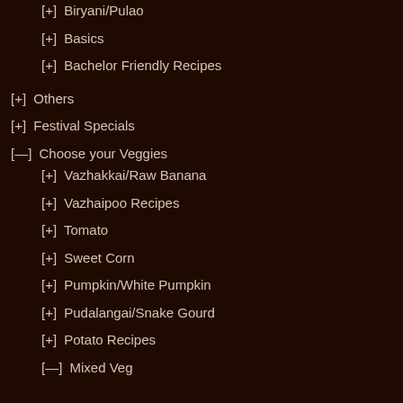[+] Biryani/Pulao
[+] Basics
[+] Bachelor Friendly Recipes
[+] Others
[+] Festival Specials
[—] Choose your Veggies
[+] Vazhakkai/Raw Banana
[+] Vazhaipoo Recipes
[+] Tomato
[+] Sweet Corn
[+] Pumpkin/White Pumpkin
[+] Pudalangai/Snake Gourd
[+] Potato Recipes
[—] Mixed Veg